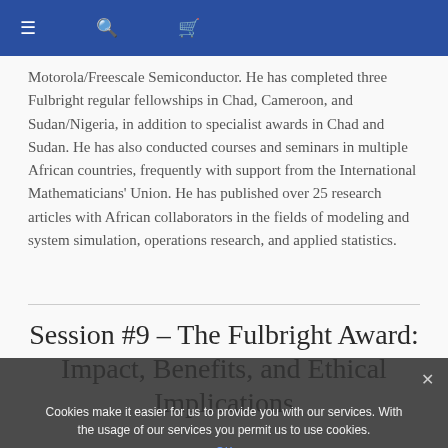≡  🔍  🛒
Motorola/Freescale Semiconductor. He has completed three Fulbright regular fellowships in Chad, Cameroon, and Sudan/Nigeria, in addition to specialist awards in Chad and Sudan. He has also conducted courses and seminars in multiple African countries, frequently with support from the International Mathematicians' Union. He has published over 25 research articles with African collaborators in the fields of modeling and system simulation, operations research, and applied statistics.
Session #9 – The Fulbright Award: Impact, Benefits, and Ethical Implications
Cookies make it easier for us to provide you with our services. With the usage of our services you permit us to use cookies.
OK